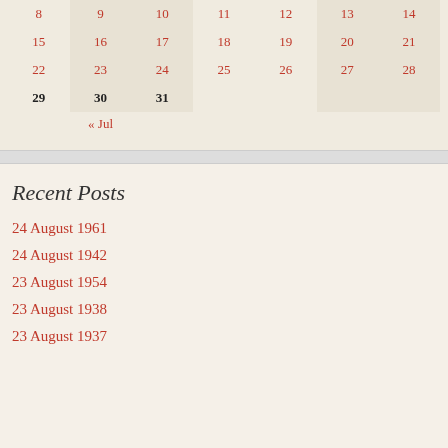| 8 | 9 | 10 | 11 | 12 | 13 | 14 |
| 15 | 16 | 17 | 18 | 19 | 20 | 21 |
| 22 | 23 | 24 | 25 | 26 | 27 | 28 |
| 29 | 30 | 31 |  |  |  |  |
« Jul
Recent Posts
24 August 1961
24 August 1942
23 August 1954
23 August 1938
23 August 1937